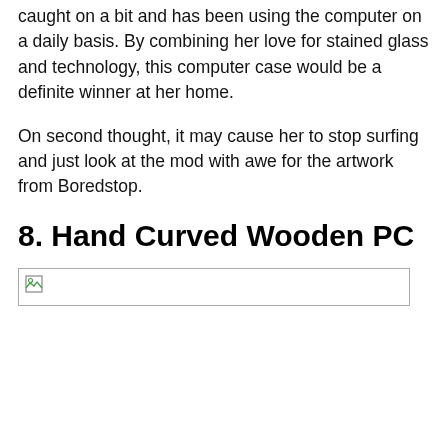caught on a bit and has been using the computer on a daily basis. By combining her love for stained glass and technology, this computer case would be a definite winner at her home.
On second thought, it may cause her to stop surfing and just look at the mod with awe for the artwork from Boredstop.
8. Hand Curved Wooden PC
[Figure (photo): Broken/missing image placeholder for Hand Curved Wooden PC]